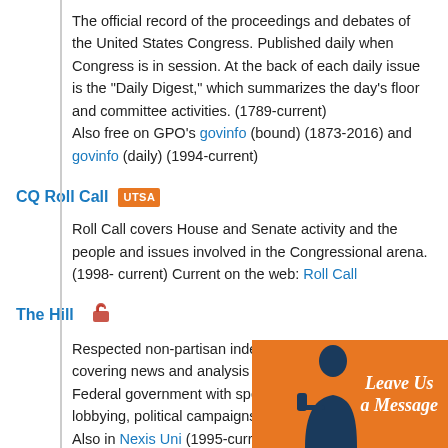The official record of the proceedings and debates of the United States Congress. Published daily when Congress is in session. At the back of each daily issue is the "Daily Digest," which summarizes the day's floor and committee activities. (1789-current)
Also free on GPO's govinfo (bound) (1873-2016) and govinfo (daily) (1994-current)
CQ Roll Call  UTSA
Roll Call covers House and Senate activity and the people and issues involved in the Congressional arena. (1998-current) Current on the web: Roll Call
The Hill  🔓
Respected non-partisan independent newspaper covering news and analysis about Congress and the Federal government with special focus on business and lobbying, political campaigns, and Capitol Hill issues.
Also in Nexis Uni (1995-current) and (2007-current) (full image)
Politico
[Figure (illustration): Orange chat/message widget overlay in bottom-right corner showing a dark blue silhouette of a person with a speech bubble, with italic text 'Leave Us a Message']